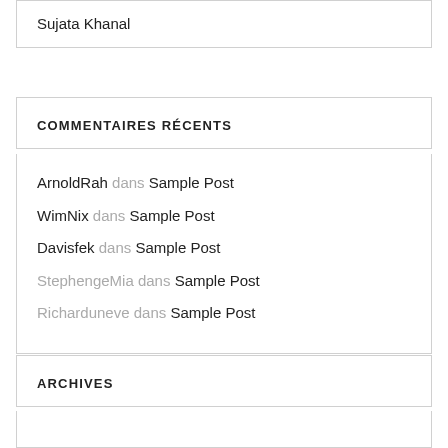Sujata Khanal
COMMENTAIRES RÉCENTS
ArnoldRah dans Sample Post
WimNix dans Sample Post
Davisfek dans Sample Post
StephengeMia dans Sample Post
Richarduneve dans Sample Post
ARCHIVES